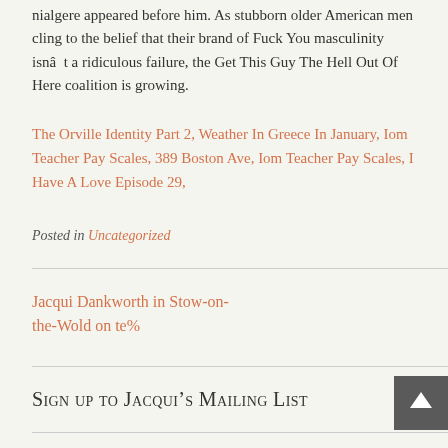...nialgere appeared before him. As stubborn older American men cling to the belief that their brand of Fuck You masculinity isnât a ridiculous failure, the Get This Guy The Hell Out Of Here coalition is growing.
The Orville Identity Part 2, Weather In Greece In January, Iom Teacher Pay Scales, 389 Boston Ave, Iom Teacher Pay Scales, I Have A Love Episode 29,
Posted in Uncategorized
Jacqui Dankworth in Stow-on-the-Wold on te%
Sign up to Jacqui’s Mailing List